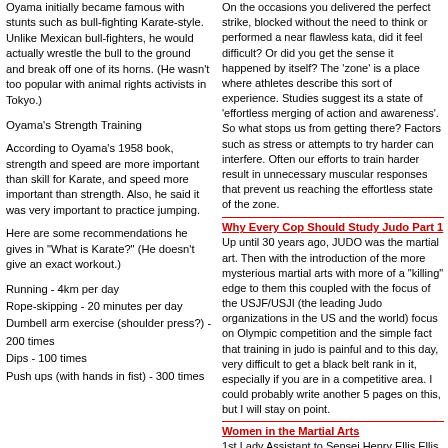Oyama initially became famous with stunts such as bull-fighting Karate-style. Unlike Mexican bull-fighters, he would actually wrestle the bull to the ground and break off one of its horns. (He wasn't too popular with animal rights activists in Tokyo.)
Oyama's Strength Training
According to Oyama's 1958 book, strength and speed are more important than skill for Karate, and speed more important than strength. Also, he said it was very important to practice jumping.
Here are some recommendations he gives in "What is Karate?" (He doesn't give an exact workout.)
Running - 4km per day
Rope-skipping - 20 minutes per day
Dumbell arm exercise (shoulder press?) - 200 times
Dips - 100 times
Push ups (with hands in fist) - 300 times
On the occasions you delivered the perfect strike, blocked without the need to think or performed a near flawless kata, did it feel difficult? Or did you get the sense it happened by itself? The 'zone' is a place where athletes describe this sort of experience. Studies suggest its a state of 'effortless merging of action and awareness'. So what stops us from getting there? Factors such as stress or attempts to try harder can interfere. Often our efforts to train harder result in unnecessary muscular responses that prevent us reaching the effortless state of the zone.
Why Every Cop Should Study Judo Part 1
Up until 30 years ago, JUDO was the martial art. Then with the introduction of the more mysterious martial arts with more of a "killing" edge to them this coupled with the focus of the USJF/USJI (the leading Judo organizations in the US and the world) focus on Olympic competition and the simple fact that training in judo is painful and to this day, very difficult to get a black belt rank in it, especially if you are in a competitive area. I could probably write another 5 pages on this, but I will stay on point.
Women in the Martial Arts
1st Lady Assistant to Sensei Henry Ellis Ellis Schools of Traditional Aikido
Are You Still Standing Toe to Toe?
How many times do you practice techniques with your training partner and you stay in the same spot? Next time you are training, see how much you and your partner move. You will find you move very little or not at all. You see, when you are training, or doing ANYTHING for that matter, you always try to seek the path of least...